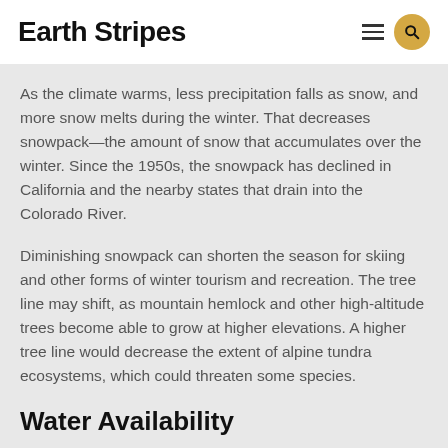Earth Stripes
As the climate warms, less precipitation falls as snow, and more snow melts during the winter. That decreases snowpack—the amount of snow that accumulates over the winter. Since the 1950s, the snowpack has declined in California and the nearby states that drain into the Colorado River.
Diminishing snowpack can shorten the season for skiing and other forms of winter tourism and recreation. The tree line may shift, as mountain hemlock and other high-altitude trees become able to grow at higher elevations. A higher tree line would decrease the extent of alpine tundra ecosystems, which could threaten some species.
Water Availability